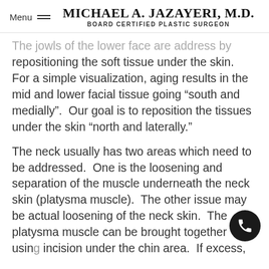Menu | MICHAEL A. JAZAYERI, M.D. | Board Certified Plastic Surgeon
The jowls of the lower face are address by repositioning the soft tissue under the skin.  For a simple visualization, aging results in the mid and lower facial tissue going “south and medially”.  Our goal is to reposition the tissues under the skin “north and laterally.”
The neck usually has two areas which need to be addressed.  One is the loosening and separation of the muscle underneath the neck skin (platysma muscle).  The other issue may be actual loosening of the neck skin.  The platysma muscle can be brought together using an incision under the chin area.  If excess,